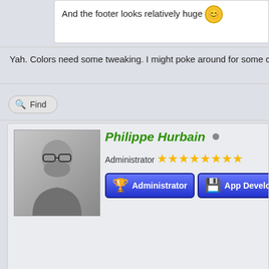And the footer looks relatively huge 😊
Yah. Colors need some tweaking. I might poke around for some c
Find
Philippe Hurbain
Administrator ★★★★★★★★
Administrator
App Developer
RE: Another New Theme
2017-05-20, 14:50
Orion Pobursky Wrote: →
Yah. Colors need some tweaking. I might poke around for so
Tried the new theme, don't like the colors. But that's only perso